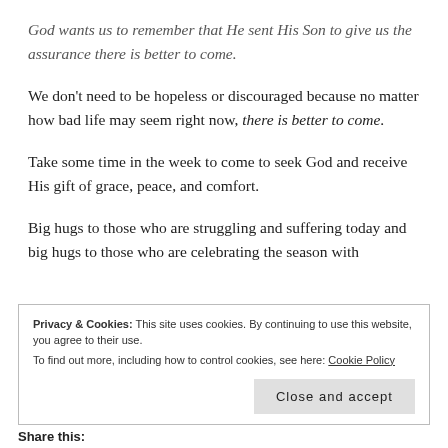God wants us to remember that He sent His Son to give us the assurance there is better to come.
We don't need to be hopeless or discouraged because no matter how bad life may seem right now, there is better to come.
Take some time in the week to come to seek God and receive His gift of grace, peace, and comfort.
Big hugs to those who are struggling and suffering today and big hugs to those who are celebrating the season with
Privacy & Cookies: This site uses cookies. By continuing to use this website, you agree to their use.
To find out more, including how to control cookies, see here: Cookie Policy
Share this: